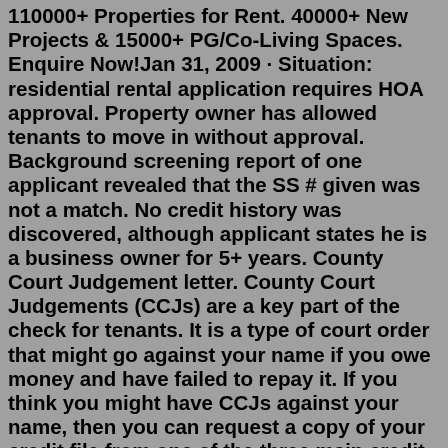110000+ Properties for Rent. 40000+ New Projects & 15000+ PG/Co-Living Spaces. Enquire Now!Jan 31, 2009 · Situation: residential rental application requires HOA approval. Property owner has allowed tenants to move in without approval. Background screening report of one applicant revealed that the SS # given was not a match. No credit history was discovered, although applicant states he is a business owner for 5+ years. County Court Judgement letter. County Court Judgements (CCJs) are a key part of the check for tenants. It is a type of court order that might go against your name if you owe money and have failed to repay it. If you think you might have CCJs against your name, then you can request a copy of your credit file from one of the three main credit ... The basics. At the very least, a lease should contain these key points: The lease term: Make sure you know—down to the exact date—when you have to re-up or move. Upfront fees: Security deposit ...Dec 09, 2020 · 2. Ask for proof of income. If the applicant gives you a reason for the low credit score, then your